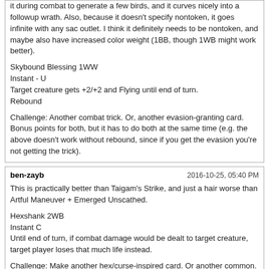it during combat to generate a few birds, and it curves nicely into a followup wrath. Also, because it doesn't specify nontoken, it goes infinite with any sac outlet. I think it definitely needs to be nontoken, and maybe also have increased color weight (1BB, though 1WB might work better).

Skybound Blessing 1WW
Instant - U
Target creature gets +2/+2 and Flying until end of turn.
Rebound

Challenge: Another combat trick. Or, another evasion-granting card. Bonus points for both, but it has to do both at the same time (e.g. the above doesn't work without rebound, since if you get the evasion you're not getting the trick).
ben-zayb
2016-10-25, 05:40 PM

This is practically better than Taigam's Strike, and just a hair worse than Artful Maneuver + Emerged Unscathed.

Hexshank 2WB
Instant C
Until end of turn, if combat damage would be dealt to target creature, target player loses that much life instead.

Challenge: Make another hex/curse-inspired card. Or another common. Bonus for both!


Flicker was introduced in Urza's Destiny, so I think people should know how "Flicker effect" works by now.
Dr.Gunsforhands
2016-10-25, 07:56 PM

It's kind of a weird version of damage redirection, right? Since it only refers to combat damage, I don't think it does much more than Boros Fury-Shield